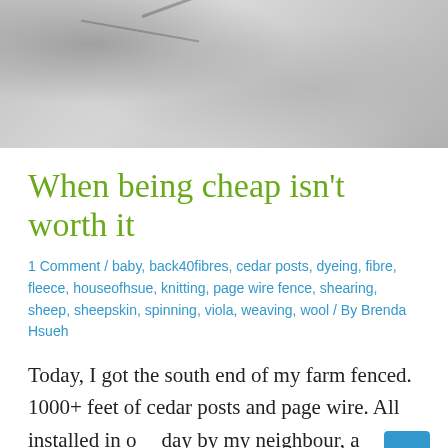[Figure (photo): Aerial or close-up photo showing snow or pale grey texture with dark lines and markings, possibly a snow-covered field or abstract surface.]
When being cheap isn't worth it
1 Comment / baby, back40fibres, cedar posts, dyeing, fibre, fleece, houseofhsue, knitting, page wire fence, shearing, sheep, sheepskin, spinning, viola, weaving, wool / By Brenda Hsueh
Today, I got the south end of my farm fenced. 1000+ feet of cedar posts and page wire. All installed in one day by my neighbour, a professional fencer, with his